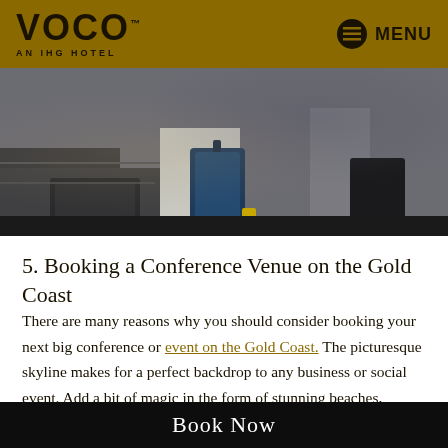VOCO AN IHG HOTEL | MENU
[Figure (photo): People with luggage, hotel arrival scene, showing legs and suitcases on steps]
5. Booking a Conference Venue on the Gold Coast
There are many reasons why you should consider booking your next big conference or event on the Gold Coast. The picturesque skyline makes for a perfect backdrop to any business or social event. Add a bit of magic in the form of stunning beaches, exciting theme parks and plenty of
Book Now